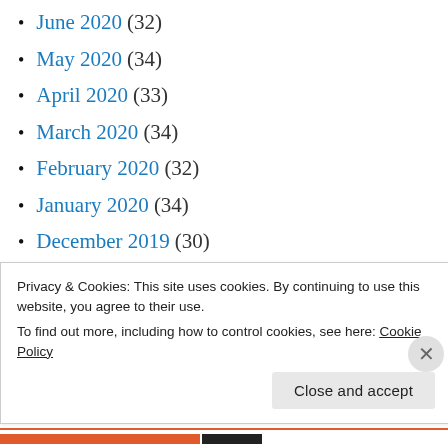June 2020 (32)
May 2020 (34)
April 2020 (33)
March 2020 (34)
February 2020 (32)
January 2020 (34)
December 2019 (30)
November 2019 (31)
October 2019 (39)
September 2019 (34)
August 2019 (37)
Privacy & Cookies: This site uses cookies. By continuing to use this website, you agree to their use. To find out more, including how to control cookies, see here: Cookie Policy
Close and accept